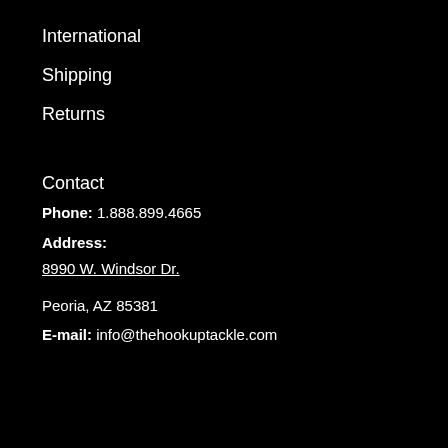International
Shipping
Returns
Contact
Phone: 1.888.899.4665
Address:
8990 W. Windsor Dr.
Peoria, AZ 85381
E-mail: info@thehookuptackle.com